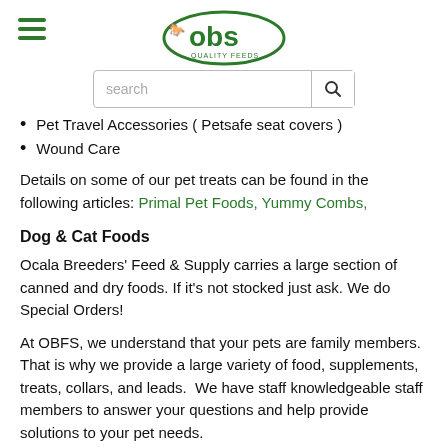OBS Quality Feeds — navigation header with logo and search bar
Pet Travel Accessories ( Petsafe seat covers )
Wound Care
Details on some of our pet treats can be found in the following articles: Primal Pet Foods, Yummy Combs,
Dog & Cat Foods
Ocala Breeders' Feed & Supply carries a large section of canned and dry foods. If it's not stocked just ask. We do Special Orders!
At OBFS, we understand that your pets are family members. That is why we provide a large variety of food, supplements, treats, collars, and leads.  We have staff knowledgeable staff members to answer your questions and help provide solutions to your pet needs.